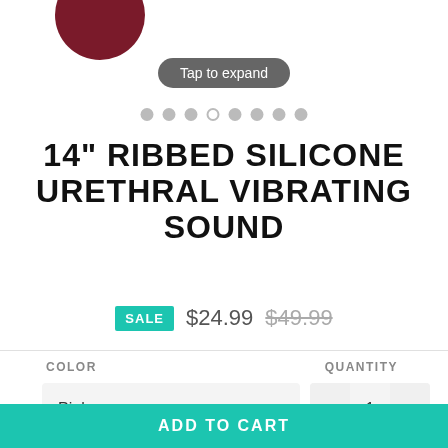[Figure (photo): Partial view of a dark red/maroon product image cropped at the top of the page]
Tap to expand
[Figure (infographic): Carousel dot indicators: 8 dots, the 4th one is open/hollow, rest are filled gray]
14" RIBBED SILICONE URETHRAL VIBRATING SOUND
SALE $24.99 $49.99
COLOR
QUANTITY
Pink
1
ADD TO CART